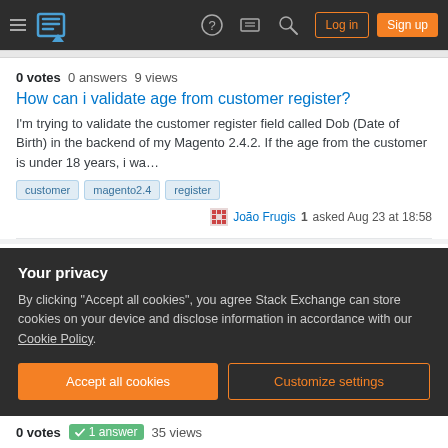Stack Exchange navigation bar with hamburger menu, logo, help, chat, search icons, Log in and Sign up buttons
0 votes  0 answers  9 views
How can i validate age from customer register?
I'm trying to validate the customer register field called Dob (Date of Birth) in the backend of my Magento 2.4.2. If the age from the customer is under 18 years, i wa…
customer
magento2.4
register
João Frugis 1 asked Aug 23 at 18:58
0 votes  2 answers  15 views
Magento 2 Customer Id is not updating after login
I have a form in the product view section. In this form, I am keeping the logged-in
Your privacy
By clicking "Accept all cookies", you agree Stack Exchange can store cookies on your device and disclose information in accordance with our Cookie Policy.
Accept all cookies
Customize settings
0 votes  1 answer  35 views